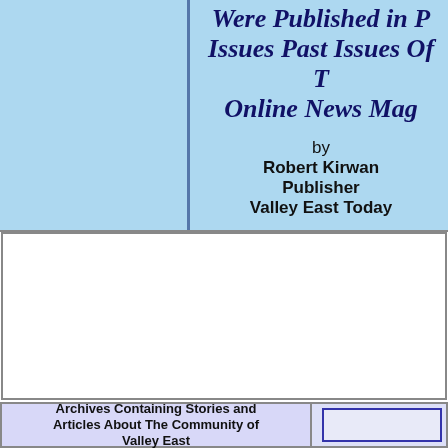Were Published in Past Issues Past Issues Of The Online News Magazine
by
Robert Kirwan
Publisher
Valley East Today
[Figure (other): White rectangle/box area in the middle section]
Archives Containing Stories and Articles About The Community of Valley East